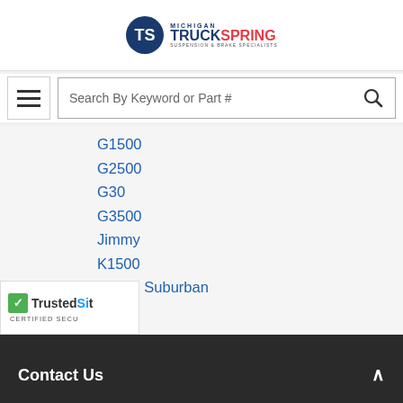Michigan TruckSpring - Suspension & Brake Specialists
Search By Keyword or Part #
G1500
G2500
G30
G3500
Jimmy
K1500
K1500 Suburban
K2500
K2500 Suburban
K3500
K3500 - Cab & Chassis
Safari
Sonoma
W7
W7000
Yukon
Contact Us